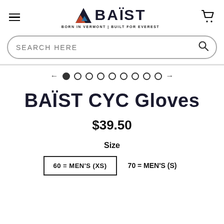BAÏST — BORN IN VERMONT | BUILT FOR EVEREST
SEARCH HERE
[Figure (other): Carousel navigation dots with left and right arrows, 9 dots total, first dot filled]
BAÏST CYC Gloves
$39.50
Size
60 = MEN'S (XS)   70 = MEN'S (S)